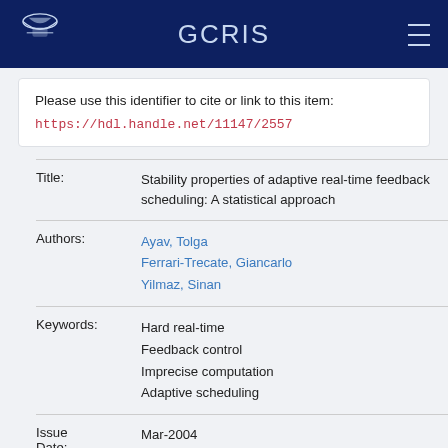GCRIS
Please use this identifier to cite or link to this item: https://hdl.handle.net/11147/2557
| Field | Value |
| --- | --- |
| Title: | Stability properties of adaptive real-time feedback scheduling: A statistical approach |
| Authors: | Ayav, Tolga
Ferrari-Trecate, Giancarlo
Yilmaz, Sinan |
| Keywords: | Hard real-time
Feedback control
Imprecise computation
Adaptive scheduling |
| Issue Date: | Mar-2004 |